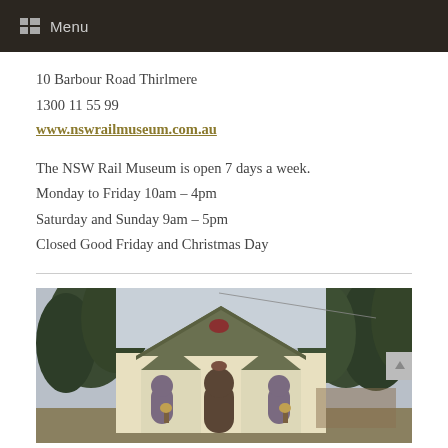Menu
10 Barbour Road Thirlmere
1300 11 55 99
www.nswrailmuseum.com.au
The NSW Rail Museum is open 7 days a week.
Monday to Friday 10am – 4pm
Saturday and Sunday 9am – 5pm
Closed Good Friday and Christmas Day
[Figure (photo): Exterior photo of a cream-coloured heritage building with dark trim, arched windows, surrounded by tall green conifer trees. The building appears to be a historic railway station or church-like structure.]